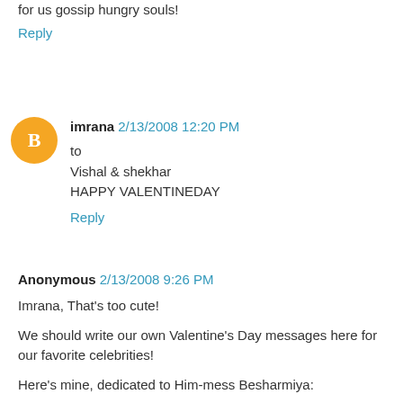for us gossip hungry souls!
Reply
imrana  2/13/2008 12:20 PM
to
Vishal & shekhar
HAPPY VALENTINEDAY
Reply
Anonymous  2/13/2008 9:26 PM
Imrana, That's too cute!

We should write our own Valentine's Day messages here for our favorite celebrities!

Here's mine, dedicated to Him-mess Besharmiya:

Roses are red,
I love Himesh,